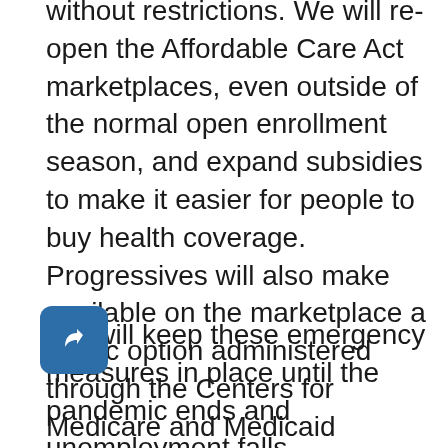without restrictions. We will re-open the Affordable Care Act marketplaces, even outside of the normal open enrollment season, and expand subsidies to make it easier for people to buy health coverage. Progressives will also make available on the marketplace a public option administered through the Centers for Medicare and Medicaid Services (CMS) which includes a platinum-level choice, with low fees and no deductibles. Low-income Americans will be automatically enrolled in the public option at zero cost to them, though they may choose to opt out at any time.
We will keep these emergency measures in place until the pandemic ends and unemployment falls significantly. And should the United States find itself in another pandemic or severe economic